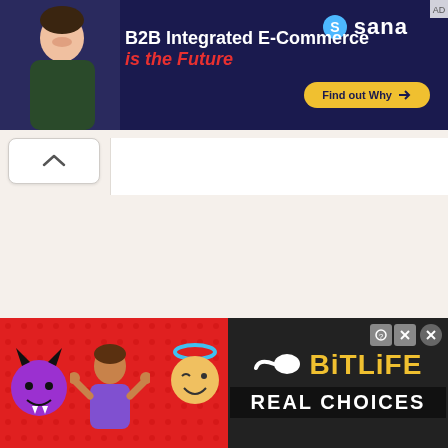[Figure (screenshot): Top banner advertisement for Sana B2B Integrated E-Commerce with dark navy background, man in photo on left, text 'B2B Integrated E-Commerce is the Future', yellow 'Find out Why' button, and Sana logo]
[Figure (screenshot): Bottom banner advertisement for BitLife game - red background with devil emoji, person shrugging emoji, angel emoji, sperm emoji, BitLife logo in yellow on dark background, 'REAL CHOICES' text]